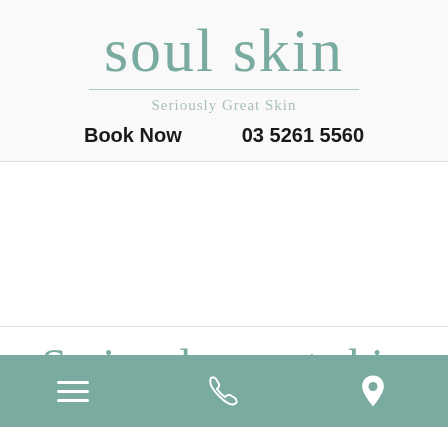[Figure (logo): soul skin logo with tagline 'Seriously Great Skin']
Book Now    03 5261 5560
Seriously great skin
[Figure (infographic): Mobile bottom navigation bar with hamburger menu, phone icon, and location pin icon on teal/green background]